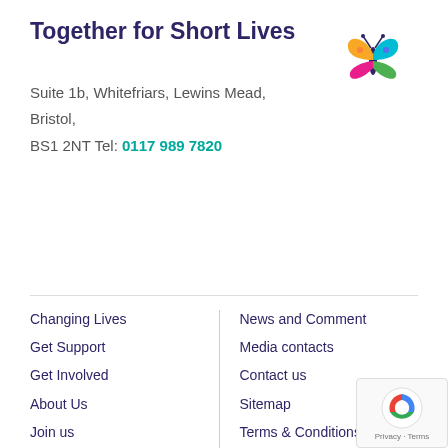Together for Short Lives
[Figure (illustration): Colorful butterfly logo in yellow, pink, green, orange, and teal colors]
Suite 1b, Whitefriars, Lewins Mead,
Bristol,
BS1 2NT Tel: 0117 989 7820
Changing Lives
Get Support
Get Involved
About Us
Join us
Members
Make a donation
News and Comment
Media contacts
Contact us
Sitemap
Terms & Conditions
Cookies
Privacy policy